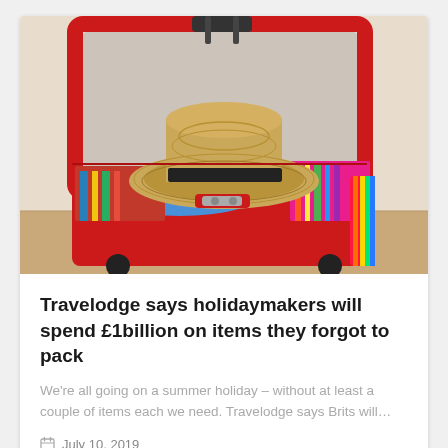[Figure (photo): An open red suitcase packed with colorful clothes and a straw hat with a black band, sitting on a beige floor against a light wall.]
Travelodge says holidaymakers will spend £1billion on items they forgot to pack
We're all going on a summer holiday – without at least a couple of items each we need. Travelodge says Brits will…
July 10, 2019